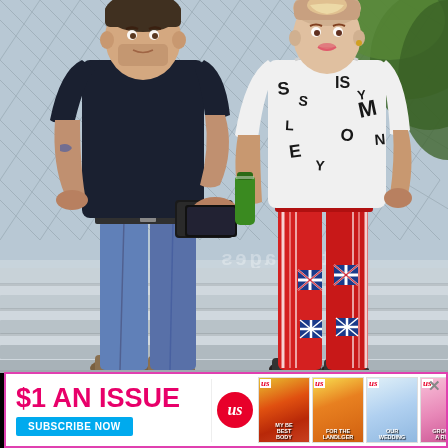[Figure (photo): Two people standing on bleachers in front of a chain-link fence. On the left is a man wearing a dark navy/black t-shirt and blue jeans, holding a phone/wallet. On the right is a woman wearing a white sweatshirt with graphic lettering, red Adidas track pants with Union Jack patches, holding a green bottle/drink.]
[Figure (infographic): Advertisement banner for US magazine: '$1 AN ISSUE' in pink/magenta text, 'SUBSCRIBE NOW' in a blue button, with magazine cover images on the right side. Pink border around the ad.]